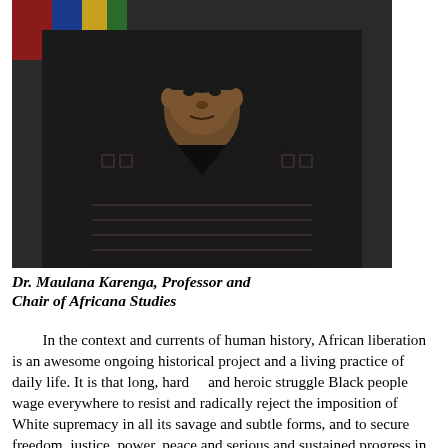[Figure (photo): Portrait photograph of Dr. Maulana Karenga, wearing a dark patterned garment with traditional African textile design, photographed from the torso up against a background with colorful elements.]
Dr. Maulana Karenga, Professor and Chair of Africana Studies
In the context and currents of human history, African liberation is an awesome ongoing historical project and a living practice of daily life. It is that long, hard and heroic struggle Black people wage everywhere to resist and radically reject the imposition of White supremacy in all its savage and subtle forms, and to secure freedom, justice, power, peace and serious and sustained progress in our lives and the world. And it is the daily personal and social practices we engage in to end oppression, avoid social seduction and cultural entrapment, and create and sustain free space to be our African selves, live lives of dignity, decency and meaning and aid the overall struggle